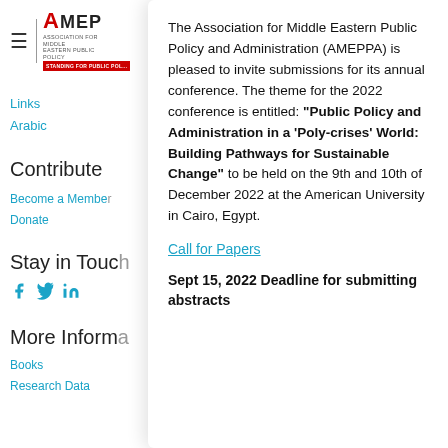[Figure (logo): AMEPPA logo with hamburger menu icon and vertical divider]
Links
Arabic
Contribute
Become a Member
Donate
Stay in Touch
[Figure (infographic): Social media icons: Facebook, Twitter, LinkedIn]
More Information
Books
Research Data
The Association for Middle Eastern Public Policy and Administration (AMEPPA) is pleased to invite submissions for its annual conference. The theme for the 2022 conference is entitled: “Public Policy and Administration in a ‘Poly-crises’ World: Building Pathways for Sustainable Change” to be held on the 9th and 10th of December 2022 at the American University in Cairo, Egypt.
Call for Papers
Sept 15, 2022 Deadline for submitting abstracts